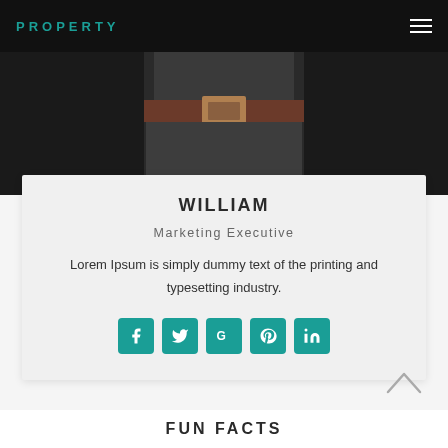PROPERTY
[Figure (photo): Partial photo of a person showing torso area with a brown leather belt, dark suit trousers against a black background]
WILLIAM
Marketing Executive
Lorem Ipsum is simply dummy text of the printing and typesetting industry.
[Figure (infographic): Row of 5 teal social media icon buttons: Facebook (f), Twitter (bird), Google (G), Pinterest (p), LinkedIn (in)]
FUN FACTS